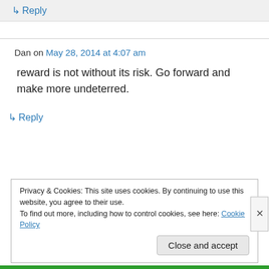↳ Reply
Dan on May 28, 2014 at 4:07 am
reward is not without its risk. Go forward and make more undeterred.
↳ Reply
Privacy & Cookies: This site uses cookies. By continuing to use this website, you agree to their use. To find out more, including how to control cookies, see here: Cookie Policy
Close and accept